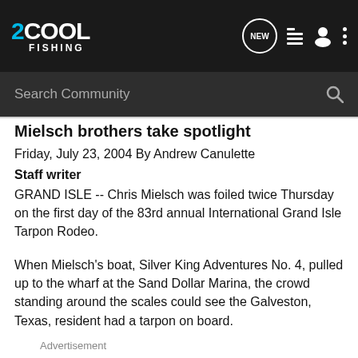2COOL FISHING — navigation bar with logo, NEW, list, user, and menu icons
Search Community
Mielsch brothers take spotlight
Friday, July 23, 2004 By Andrew Canulette
Staff writer
GRAND ISLE -- Chris Mielsch was foiled twice Thursday on the first day of the 83rd annual International Grand Isle Tarpon Rodeo.
When Mielsch's boat, Silver King Adventures No. 4, pulled up to the wharf at the Sand Dollar Marina, the crowd standing around the scales could see the Galveston, Texas, resident had a tarpon on board.
Advertisement